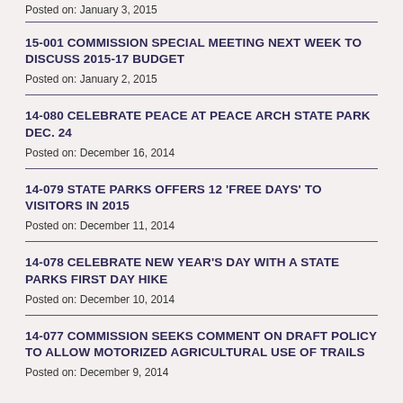Posted on: January 3, 2015
15-001 COMMISSION SPECIAL MEETING NEXT WEEK TO DISCUSS 2015-17 BUDGET
Posted on: January 2, 2015
14-080 CELEBRATE PEACE AT PEACE ARCH STATE PARK DEC. 24
Posted on: December 16, 2014
14-079 STATE PARKS OFFERS 12 'FREE DAYS' TO VISITORS IN 2015
Posted on: December 11, 2014
14-078 CELEBRATE NEW YEAR'S DAY WITH A STATE PARKS FIRST DAY HIKE
Posted on: December 10, 2014
14-077 COMMISSION SEEKS COMMENT ON DRAFT POLICY TO ALLOW MOTORIZED AGRICULTURAL USE OF TRAILS
Posted on: December 9, 2014